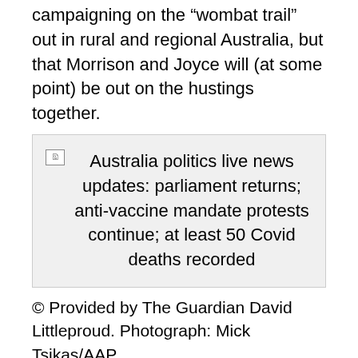campaigning on the “wombat trail” out in rural and regional Australia, but that Morrison and Joyce will (at some point) be out on the hustings together.
[Figure (other): Broken image placeholder with caption: Australia politics live news updates: parliament returns; anti-vaccine mandate protests continue; at least 50 Covid deaths recorded]
© Provided by The Guardian David Littleproud. Photograph: Mick Tsikas/AAP
07 Feb 2022 20:31
Before today’s firehose really gets going, here